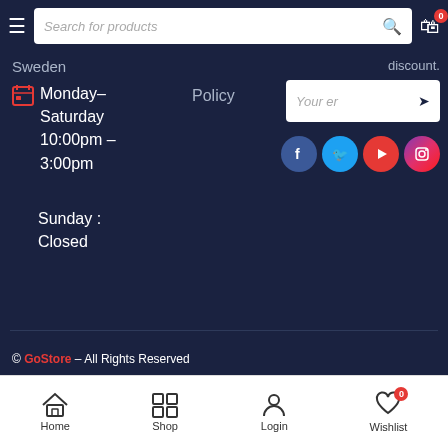Search for products
Sweden
Policy
discount.
Monday–Saturday 10:00pm – 3:00pm
Sunday : Closed
Your er
[Figure (illustration): Social media icons: Facebook, Twitter, YouTube, Instagram]
© GoStore – All Rights Reserved
[Figure (illustration): Payment method logos: Maestro, PayPal, Discover, American Express, VISA, Mastercard]
Home Shop Login Wishlist